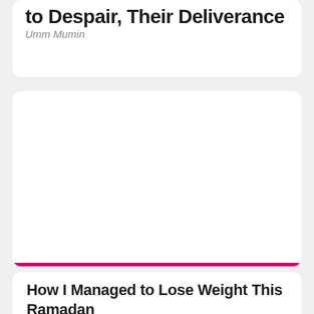to Despair, Their Deliverance
Umm Mumin
[Figure (other): White card area, blank content region with a pink/magenta horizontal bar at the bottom]
How I Managed to Lose Weight This Ramadan